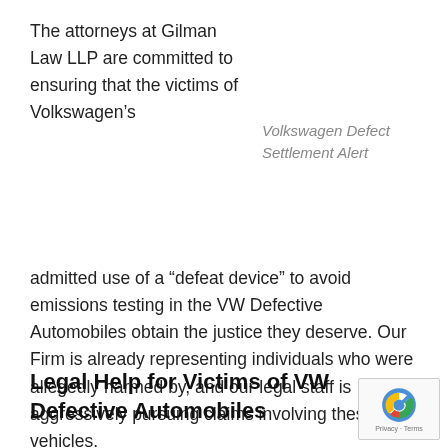The attorneys at Gilman Law LLP are committed to ensuring that the victims of Volkswagen's
Volkswagen Defect Settlement Alert
admitted use of a “defeat device” to avoid emissions testing in the VW Defective Automobiles obtain the justice they deserve. Our Firm is already representing individuals who were allegedly harmed by, and our legal staff is aggressively pursuing claims involving these vehicles.
Legal Help for Victims of VW Defective Automobiles